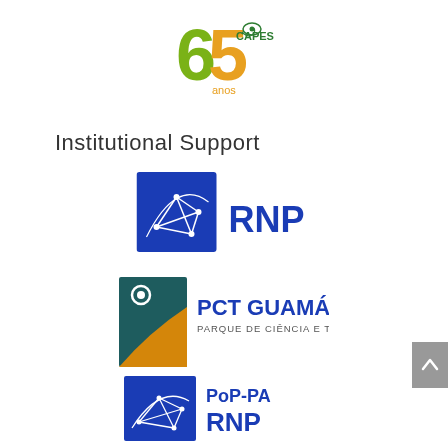[Figure (logo): CAPES 65 anos logo with green and orange number 65 and snake/eye design]
Institutional Support
[Figure (logo): RNP logo - blue square with white network/constellation diagram and blue RNP text]
[Figure (logo): PCT GUAMA - Parque de Ciência e Tecnologia logo with teal/gold design]
[Figure (logo): PoP-PA RNP logo - blue square with white constellation and PoP-PA RNP text]